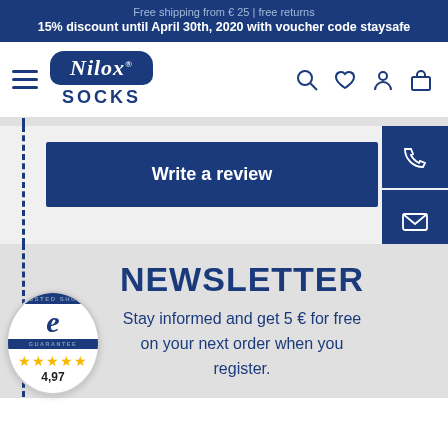Free shipping from € 25 | free returns
15% discount until April 30th, 2020 with voucher code staysafe
[Figure (logo): Nilox Socks logo with script text in dark blue badge and SOCKS text below]
Write a review
NEWSLETTER
Stay informed and get 5 € for free on your next order when you register.
[Figure (illustration): Trusted Shops guarantee badge with 4 stars and score 4,97]